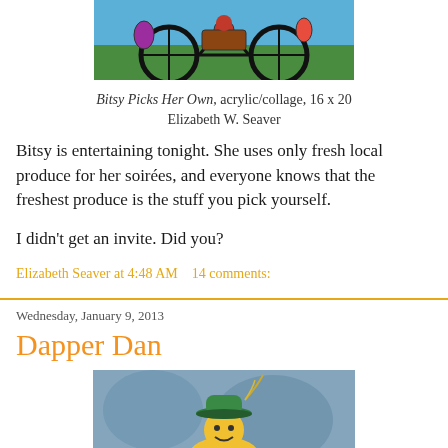[Figure (illustration): Colorful acrylic/collage artwork showing a bicycle with vegetables and produce, titled Bitsy Picks Her Own]
Bitsy Picks Her Own, acrylic/collage, 16 x 20
Elizabeth W. Seaver
Bitsy is entertaining tonight. She uses only fresh local produce for her soirées, and everyone knows that the freshest produce is the stuff you pick yourself.
I didn't get an invite. Did you?
Elizabeth Seaver at 4:48 AM   14 comments:
Wednesday, January 9, 2013
Dapper Dan
[Figure (illustration): Colorful illustration of a figure wearing a green bowler hat with a feather, on a blue background]